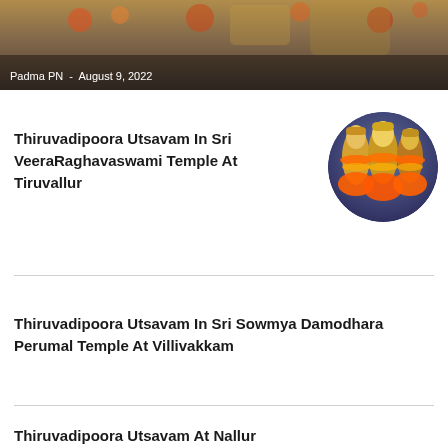[Figure (photo): Top banner image of temple decorations, with author byline overlay showing 'Padma PN - August 9, 2022']
Padma PN - August 9, 2022
Thiruvadipoora Utsavam In Sri VeeraRaghavaswami Temple At Tiruvallur
[Figure (photo): Circular photo of temple deities adorned with orange garlands and ornaments]
Thiruvadipoora Utsavam In Sri Sowmya Damodhara Perumal Temple At Villivakkam
Thiruvadipoora Utsavam At Nallur